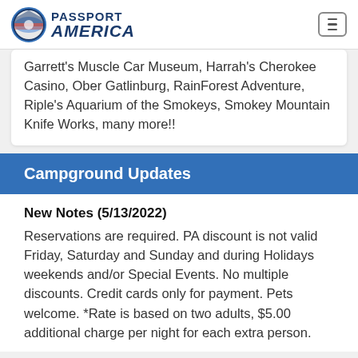Passport America
Garrett's Muscle Car Museum, Harrah's Cherokee Casino, Ober Gatlinburg, RainForest Adventure, Riple's Aquarium of the Smokeys, Smokey Mountain Knife Works, many more!!
Campground Updates
New Notes (5/13/2022)
Reservations are required. PA discount is not valid Friday, Saturday and Sunday and during Holidays weekends and/or Special Events. No multiple discounts. Credit cards only for payment. Pets welcome. *Rate is based on two adults, $5.00 additional charge per night for each extra person.